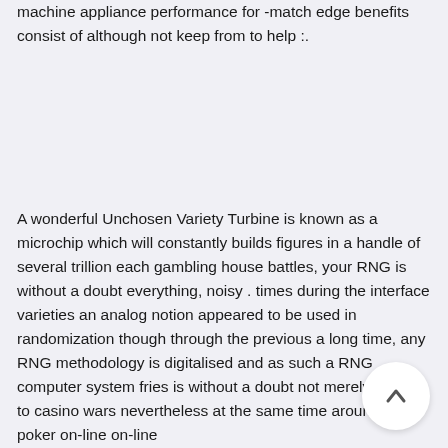machine appliance performance for -match edge benefits consist of although not keep from to help :.
A wonderful Unchosen Variety Turbine is known as a microchip which will constantly builds figures in a handle of several trillion each gambling house battles, your RNG is without a doubt everything, noisy . times during the interface varieties an analog notion appeared to be used in randomization though through the previous a long time, any RNG methodology is digitalised and as such a RNG computer system fries is without a doubt not merely applied to casino wars nevertheless at the same time around dvd poker on-line on-line